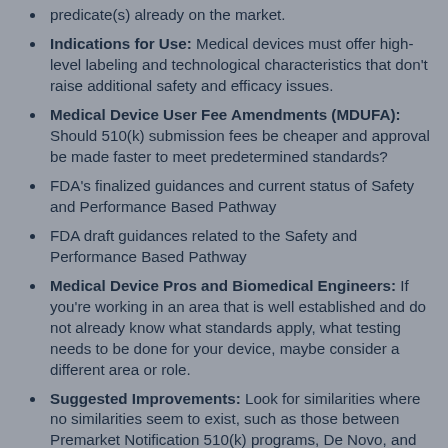predicate(s) already on the market.
Indications for Use: Medical devices must offer high-level labeling and technological characteristics that don't raise additional safety and efficacy issues.
Medical Device User Fee Amendments (MDUFA): Should 510(k) submission fees be cheaper and approval be made faster to meet predetermined standards?
FDA's finalized guidances and current status of Safety and Performance Based Pathway
FDA draft guidances related to the Safety and Performance Based Pathway
Medical Device Pros and Biomedical Engineers: If you're working in an area that is well established and do not already know what standards apply, what testing needs to be done for your device, maybe consider a different area or role.
Suggested Improvements: Look for similarities where no similarities seem to exist, such as those between Premarket Notification 510(k) programs, De Novo, and other FDA market pathways.
Are additional regulatory guidances wanted or needed on device- and technology-specific